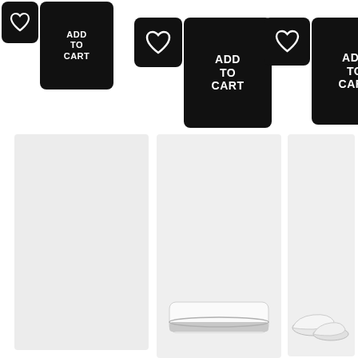[Figure (screenshot): Three product card UI components showing black heart/wishlist icon button and black ADD TO CART button at top of page]
[Figure (screenshot): Three light gray product card panels at bottom half, two showing product images - a flat silver ring and a pair of silver shoes/slippers]